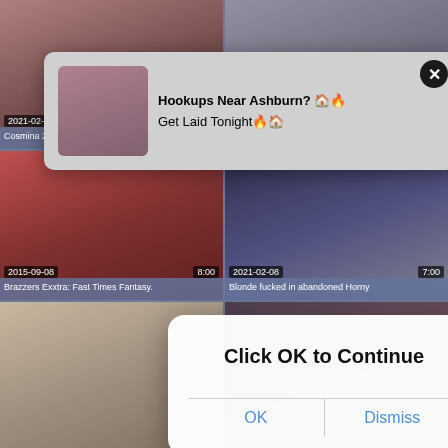[Figure (screenshot): Video thumbnail grid showing adult video website with 6 video thumbnails in 2-column layout, each with date badges and duration overlays, plus two popup overlays: a notification for 'Hookups Near Ashburn? Get Laid Tonight' and a dialog saying 'Click OK to Continue' with OK and Dismiss buttons.]
Hookups Near Ashburn? 🏠🔥
Get Laid Tonight🔥🏠
Click OK to Continue
OK
Dismiss
2021-02-20
44:29
Cosmina 28 ans aux gros seins
2021-02-15
33:59
Kathia gros seins
2015-09-08
8:00
Brazzers Exxtra: Fast Times Fantasy.
2021-02-08
7:00
Blonde fucked in abandoned Horny